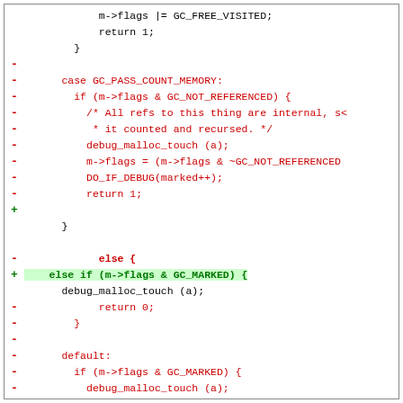[Figure (screenshot): A code diff showing changes to a C/GC function. Red lines (prefixed with -) show removed code and green lines (prefixed with +) show added code. The diff includes case GC_PASS_COUNT_MEMORY, else/else-if blocks, default case, and a #ifdef PIKE_DEBUG section.]